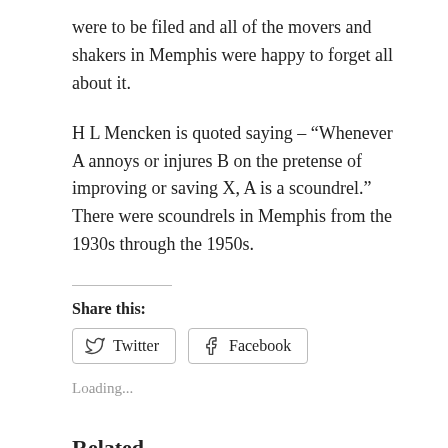were to be filed and all of the movers and shakers in Memphis were happy to forget all about it.
H L Mencken is quoted saying – “Whenever A annoys or injures B on the pretense of improving or saving X, A is a scoundrel.” There were scoundrels in Memphis from the 1930s through the 1950s.
Share this:
[Figure (other): Twitter and Facebook share buttons]
Loading...
Related